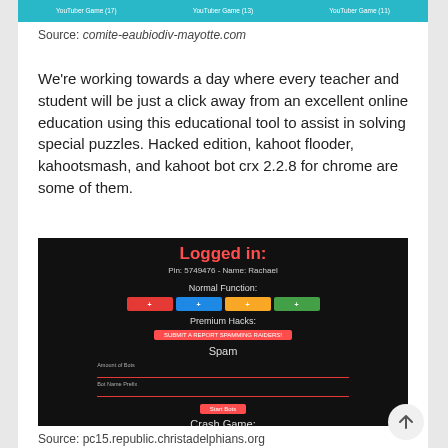[Figure (screenshot): Top banner from a website showing YouTube-related links in teal/cyan color]
Source: comite-eaubiodiv-mayotte.com
We're working towards a day where every teacher and student will be just a click away from an excellent online education using this educational tool to assist in solving special puzzles. Hacked edition, kahoot flooder, kahootsmash, and kahoot bot crx 2.2.8 for chrome are some of them.
[Figure (screenshot): Dark-themed web app screenshot showing 'Logged in:' in red, Pin: 5749476 - Name: Rachael, Normal Function with colored buttons (red, blue, yellow, green), Premium Hacks section, Spam section with form fields, Start Bots button, and Crash Game section with Crash button]
Source: pc15.republic.christadelphians.org